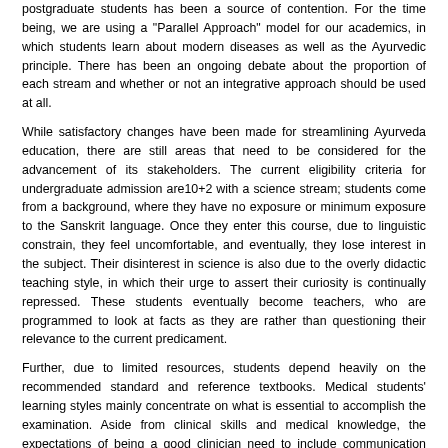postgraduate students has been a source of contention. For the time being, we are using a "Parallel Approach" model for our academics, in which students learn about modern diseases as well as the Ayurvedic principle. There has been an ongoing debate about the proportion of each stream and whether or not an integrative approach should be used at all.
While satisfactory changes have been made for streamlining Ayurveda education, there are still areas that need to be considered for the advancement of its stakeholders. The current eligibility criteria for undergraduate admission are10+2 with a science stream; students come from a background, where they have no exposure or minimum exposure to the Sanskrit language. Once they enter this course, due to linguistic constrain, they feel uncomfortable, and eventually, they lose interest in the subject. Their disinterest in science is also due to the overly didactic teaching style, in which their urge to assert their curiosity is continually repressed. These students eventually become teachers, who are programmed to look at facts as they are rather than questioning their relevance to the current predicament.
Further, due to limited resources, students depend heavily on the recommended standard and reference textbooks. Medical students' learning styles mainly concentrate on what is essential to accomplish the examination. Aside from clinical skills and medical knowledge, the expectations of being a good clinician need to include communication and interpersonal aids, competence, practice-based learning and upgrading, and system-based training. Another suggested change is the shift to a learner-centric outlook. Most teachers opt for their profession not out of passion, but this is the only comfortable thing they find to pursue after their post-graduation. Screening for the appointment of the teacher is not done objectively; thus the performance and the quality of